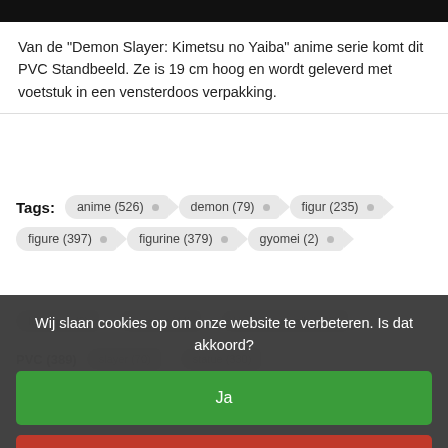Van de "Demon Slayer: Kimetsu no Yaiba" anime serie komt dit PVC Standbeeld. Ze is 19 cm hoog en wordt geleverd met voetstuk in een vensterdoos verpakking.
Tags: anime (526)  demon (79)  figur (235)  figure (397)  figurine (379)  gyomei (2)  himejima (2)  kimetsu (44)  kimetsu no yaiba (30)  PVC (389)  slayer (70)  statue (330)
Wij slaan cookies op om onze website te verbeteren. Is dat akkoord?
Ja
Nee
Meer over cookies »